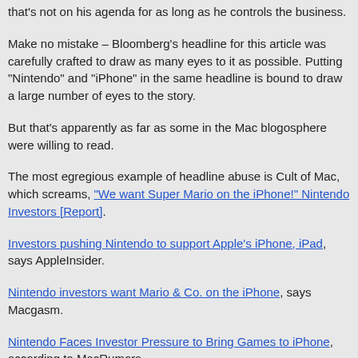that's not on his agenda for as long as he controls the business.
Make no mistake – Bloomberg's headline for this article was carefully crafted to draw as many eyes to it as possible. Putting "Nintendo" and "iPhone" in the same headline is bound to draw a large number of eyes to the story.
But that's apparently as far as some in the Mac blogosphere were willing to read.
The most egregious example of headline abuse is Cult of Mac, which screams, "We want Super Mario on the iPhone!" Nintendo Investors [Report].
Investors pushing Nintendo to support Apple's iPhone, iPad, says AppleInsider.
Nintendo investors want Mario & Co. on the iPhone, says Macgasm.
Nintendo Faces Investor Pressure to Bring Games to iPhone, according to MacRumors.
Investors To Nintendo: Let's Make This iOS Thing Happen, says Mashable, which based its coverage off MacRumors.